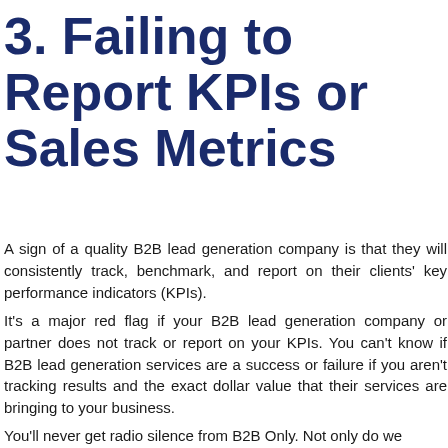3. Failing to Report KPIs or Sales Metrics
A sign of a quality B2B lead generation company is that they will consistently track, benchmark, and report on their clients' key performance indicators (KPIs).
It's a major red flag if your B2B lead generation company or partner does not track or report on your KPIs. You can't know if B2B lead generation services are a success or failure if you aren't tracking results and the exact dollar value that their services are bringing to your business.
You'll never get radio silence from B2B Only. Not only do we